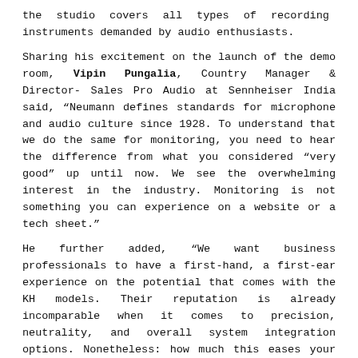the studio covers all types of recording instruments demanded by audio enthusiasts.
Sharing his excitement on the launch of the demo room, Vipin Pungalia, Country Manager & Director- Sales Pro Audio at Sennheiser India said, "Neumann defines standards for microphone and audio culture since 1928. To understand that we do the same for monitoring, you need to hear the difference from what you considered "very good" up until now. We see the overwhelming interest in the industry. Monitoring is not something you can experience on a website or a tech sheet."
He further added, "We want business professionals to have a first-hand, a first-ear experience on the potential that comes with the KH models. Their reputation is already incomparable when it comes to precision, neutrality, and overall system integration options. Nonetheless: how much this eases your sessions, prevents acoustic fatigue, and allows for a new level of control and fidelity on your sound stage must be experienced. We want to bring experience rooms as close as possible to industry professionals so everyone can have an informed decision on the best possible audio".
Speaking on the collaboration Pushkar Batra, Founder of B Chill Studios said, "I am thrilled to partner with Neumann